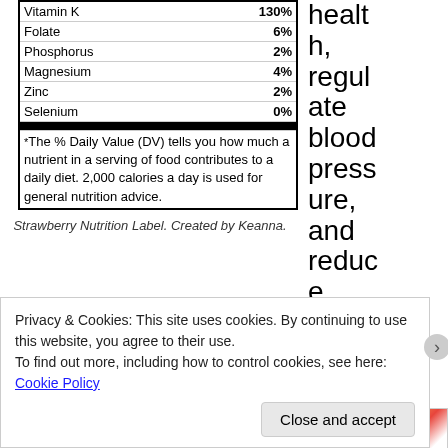| Nutrient | %DV |
| --- | --- |
| Vitamin K | 130% |
| Folate | 6% |
| Phosphorus | 2% |
| Magnesium | 4% |
| Zinc | 2% |
| Selenium | 0% |
Strawberry Nutrition Label. Created by Keanna.
health, regulate blood pressure, and reduce
inflammation [2]. All the more reasons to enjoy it.
[Figure (photo): Partial image of strawberries at top right]
Privacy & Cookies: This site uses cookies. By continuing to use this website, you agree to their use.
To find out more, including how to control cookies, see here: Cookie Policy
Close and accept